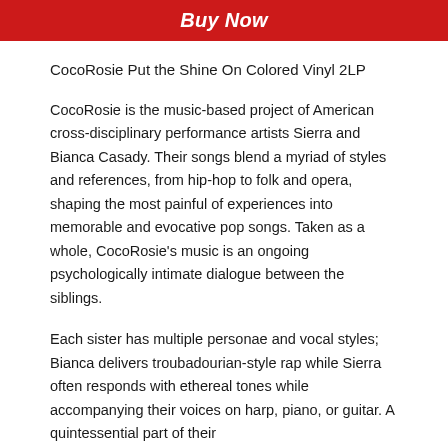Buy Now
CocoRosie Put the Shine On Colored Vinyl 2LP
CocoRosie is the music-based project of American cross-disciplinary performance artists Sierra and Bianca Casady. Their songs blend a myriad of styles and references, from hip-hop to folk and opera, shaping the most painful of experiences into memorable and evocative pop songs. Taken as a whole, CocoRosie's music is an ongoing psychologically intimate dialogue between the siblings.
Each sister has multiple personae and vocal styles; Bianca delivers troubadourian-style rap while Sierra often responds with ethereal tones while accompanying their voices on harp, piano, or guitar. A quintessential part of their